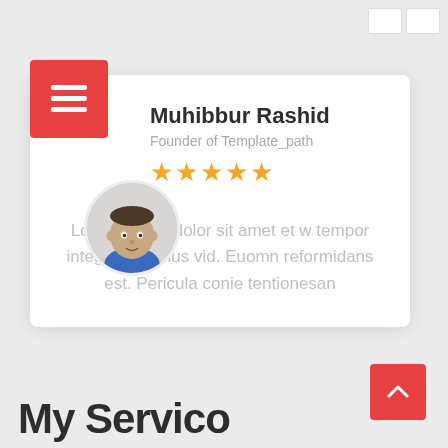[Figure (screenshot): UI screenshot showing a testimonial card with red menu icon, person avatar, name, title, star rating, and review text. Bottom section shows start of 'My Services' heading and a red scroll-to-top button.]
Muhibbur Rashid
Founder of Template_path
★★★★★
Lorem ipsum dolor sit amet et w tempor integred vis eius vid. Euomn reformidans est. Pericula conie tentionesan
My Servic…